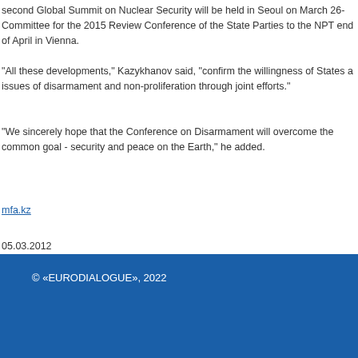second Global Summit on Nuclear Security will be held in Seoul on March 26- Committee for the 2015 Review Conference of the State Parties to the NPT end of April in Vienna.
"All these developments," Kazykhanov said, "confirm the willingness of States a issues of disarmament and non-proliferation through joint efforts."
"We sincerely hope that the Conference on Disarmament will overcome the common goal - security and peace on the Earth," he added.
mfa.kz
05.03.2012
© «EURODIALOGUE», 2022